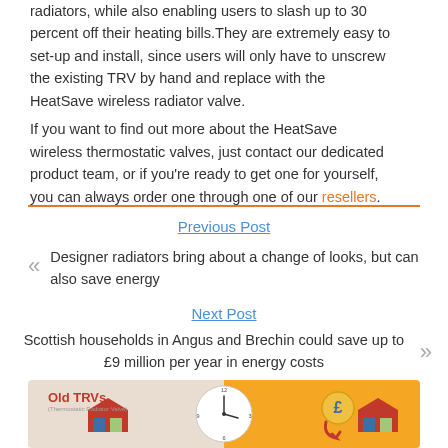radiators, while also enabling users to slash up to 30 percent off their heating bills. They are extremely easy to set-up and install, since users will only have to unscrew the existing TRV by hand and replace with the HeatSave wireless radiator valve.
If you want to find out more about the HeatSave wireless thermostatic valves, just contact our dedicated product team, or if you're ready to get one for yourself, you can always order one through one of our resellers.
Previous Post
Designer radiators bring about a change of looks, but can also save energy
Next Post
Scottish households in Angus and Brechin could save up to £9 million per year in energy costs
[Figure (infographic): Infographic showing Old TRVs (Thermostatic Radiator Valve) with a clock and a pound coin symbol with red arrows, on a beige and orange background.]